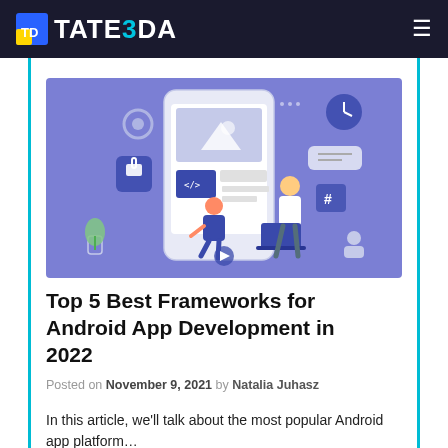TATEEDA
[Figure (illustration): Illustration of two developers working on a large smartphone displaying a web/app interface, surrounded by coding and UI icons on a purple/periwinkle background.]
Top 5 Best Frameworks for Android App Development in 2022
Posted on November 9, 2021 by Natalia Juhasz
In this article, we'll talk about the most popular Android app platform...